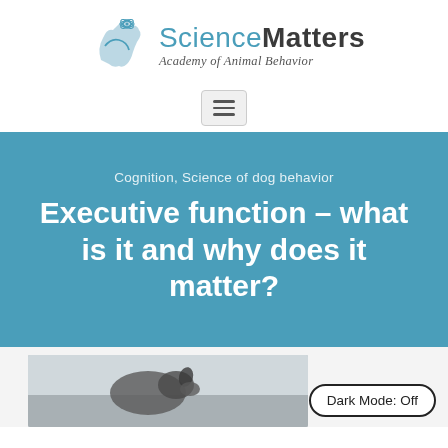[Figure (logo): ScienceMatters Academy of Animal Behavior logo with atom/science icon and stylized animal silhouette in blue]
[Figure (other): Hamburger menu button (three horizontal lines) in a rounded rectangle]
Cognition, Science of dog behavior
Executive function – what is it and why does it matter?
[Figure (photo): Partial photo of a dog at the bottom of the page, grayscale/muted tones]
Dark Mode: Off